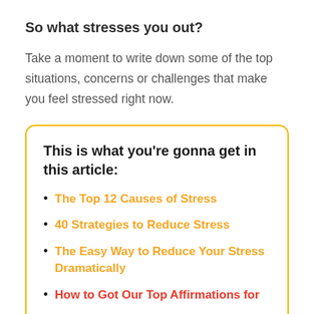So what stresses you out?
Take a moment to write down some of the top situations, concerns or challenges that make you feel stressed right now.
This is what you're gonna get in this article:
The Top 12 Causes of Stress
40 Strategies to Reduce Stress
The Easy Way to Reduce Your Stress Dramatically
How to Got Our Top Affirmations for